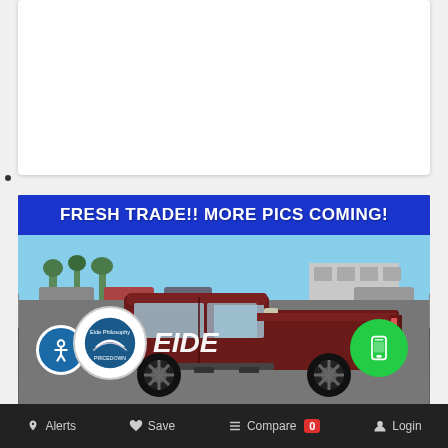[Figure (photo): White card placeholder area at top of page]
[Figure (photo): Dealership vehicle listing showing a dark red/maroon Ram 1500 pickup truck in a dealer lot. Blue banner at top reads 'FRESH TRADE!! MORE PICS COMING!'. Eide dealership logo and branding visible at bottom of image. Accessibility icon (person in circle) bottom left. Green phone button bottom right.]
Alerts   Save   Compare 0   Login